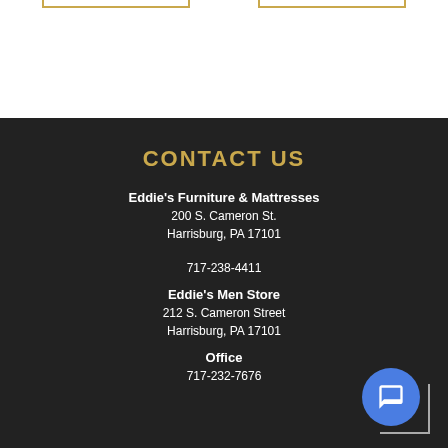[Figure (other): Top white section with two gold-bordered decorative boxes at top edge]
CONTACT US
Eddie's Furniture & Mattresses
200 S. Cameron St.
Harrisburg, PA 17101
717-238-4411
Eddie's Men Store
212 S. Cameron Street
Harrisburg, PA 17101
Office
717-232-7676
[Figure (other): Blue circular chat bubble icon with message icon, bottom right corner with bracket decoration]